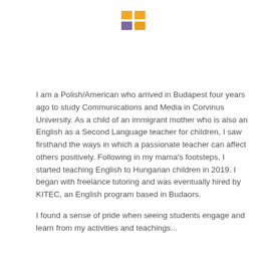[Figure (logo): Four colored squares arranged in a 2x2 grid: top-left orange/yellow, top-right orange/yellow, bottom-left purple/blue, bottom-right orange/gold — logo mark]
I am a Polish/American who arrived in Budapest four years ago to study Communications and Media in Corvinus University. As a child of an immigrant mother who is also an English as a Second Language teacher for children, I saw firsthand the ways in which a passionate teacher can affect others positively. Following in my mama's footsteps, I started teaching English to Hungarian children in 2019. I began with freelance tutoring and was eventually hired by KITEC, an English program based in Budaors.
I found a sense of pride when seeing students engage and learn from my activities and teachings, that has...